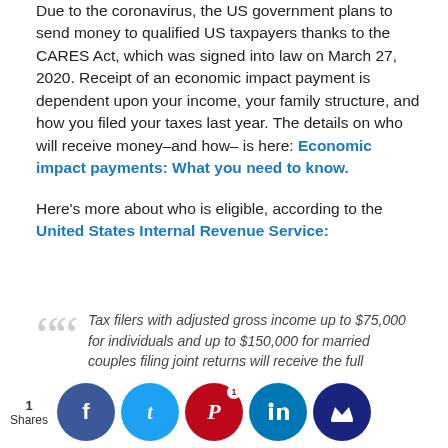Due to the coronavirus, the US government plans to send money to qualified US taxpayers thanks to the CARES Act, which was signed into law on March 27, 2020. Receipt of an economic impact payment is dependent upon your income, your family structure, and how you filed your taxes last year. The details on who will receive money–and how– is here: Economic impact payments: What you need to know.
Here's more about who is eligible, according to the United States Internal Revenue Service:
Tax filers with adjusted gross income up to $75,000 for individuals and up to $150,000 for married couples filing joint returns will receive the full payment. For filers with income above those amounts, the payment amount is reduced by $5 for each $100 above the $75,000/$150,000 thresholds. Single filers with income exceeding $99,000 and $198,000 for joint filers with no children are not eligible. Social Security recipients and retirees are also eligible and will not be required to file a return.